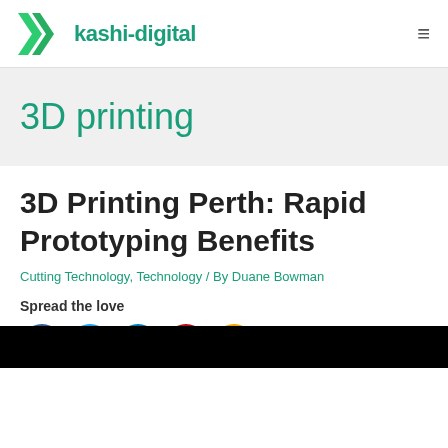kashi-digital
3D printing
3D Printing Perth: Rapid Prototyping Benefits
Cutting Technology, Technology / By Duane Bowman
Spread the love
[Figure (other): Social share icons: Facebook, Twitter, LinkedIn, Pinterest, More (plus sign)]
[Figure (photo): Black image bar at the bottom of the page]